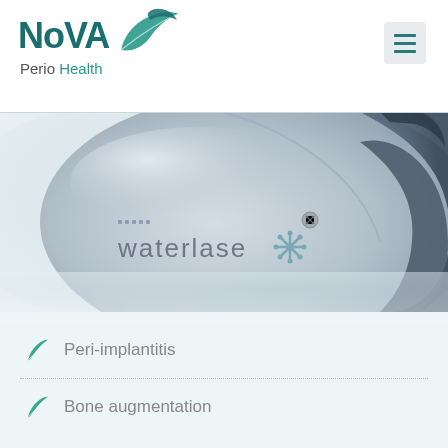[Figure (logo): NoVA Perio Health logo with teal leaf graphic]
[Figure (photo): Close-up photograph of a Waterlase dental laser device, silver and blue metallic finish with 'waterlase' branding and a snowflake-like logo]
Peri-implantitis
Bone augmentation